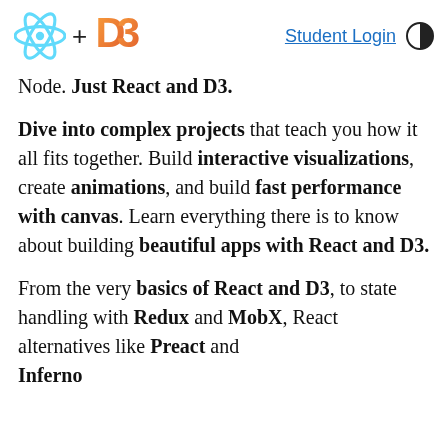React + D3 | Student Login
Node. Just React and D3.
Dive into complex projects that teach you how it all fits together. Build interactive visualizations, create animations, and build fast performance with canvas. Learn everything there is to know about building beautiful apps with React and D3.
From the very basics of React and D3, to state handling with Redux and MobX, React alternatives like Preact and Inferno…